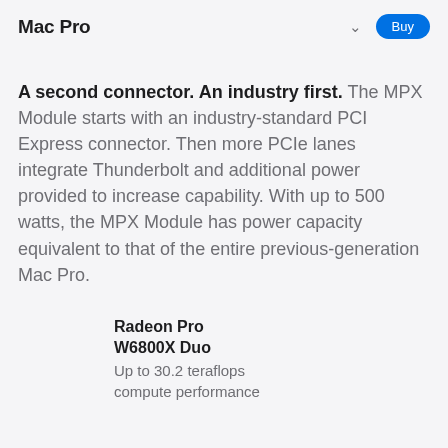Mac Pro
A second connector. An industry first. The MPX Module starts with an industry-standard PCI Express connector. Then more PCIe lanes integrate Thunderbolt and additional power provided to increase capability. With up to 500 watts, the MPX Module has power capacity equivalent to that of the entire previous-generation Mac Pro.
Radeon Pro W6800X Duo
Up to 30.2 teraflops compute performance